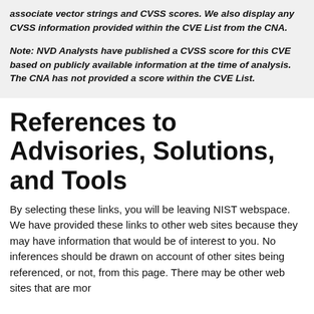associate vector strings and CVSS scores. We also display any CVSS information provided within the CVE List from the CNA.
Note: NVD Analysts have published a CVSS score for this CVE based on publicly available information at the time of analysis. The CNA has not provided a score within the CVE List.
References to Advisories, Solutions, and Tools
By selecting these links, you will be leaving NIST webspace. We have provided these links to other web sites because they may have information that would be of interest to you. No inferences should be drawn on account of other sites being referenced, or not, from this page. There may be other web sites that are mor